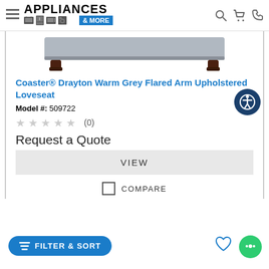Appliances & More — navigation header with logo, search, cart, and phone icons
[Figure (photo): Partial product image of a loveseat/sofa bottom, dark espresso wood legs visible on white background]
Coaster® Drayton Warm Grey Flared Arm Upholstered Loveseat
Model #: 509722
★★★★★ (0)
Request a Quote
VIEW
COMPARE